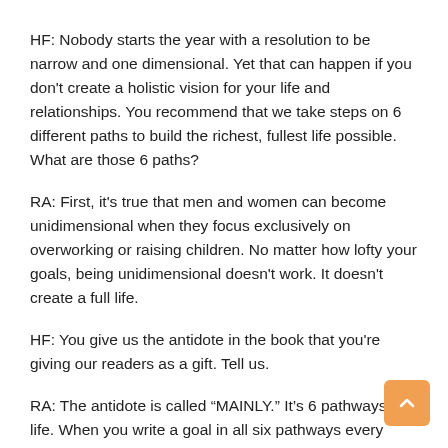HF: Nobody starts the year with a resolution to be narrow and one dimensional. Yet that can happen if you don't create a holistic vision for your life and relationships. You recommend that we take steps on 6 different paths to build the richest, fullest life possible. What are those 6 paths?
RA: First, it's true that men and women can become unidimensional when they focus exclusively on overworking or raising children. No matter how lofty your goals, being unidimensional doesn't work. It doesn't create a full life.
HF: You give us the antidote in the book that you're giving our readers as a gift. Tell us.
RA: The antidote is called “MAINLY.” It’s 6 pathways of life. When you write a goal in all six pathways every month like I do, and like all of my clients around the world do, that's the antidote against becoming unidimensional. And it’s the way to become holistic in your life.
HF: M.A.I.N.L.Y. is your acronym for what six paths?